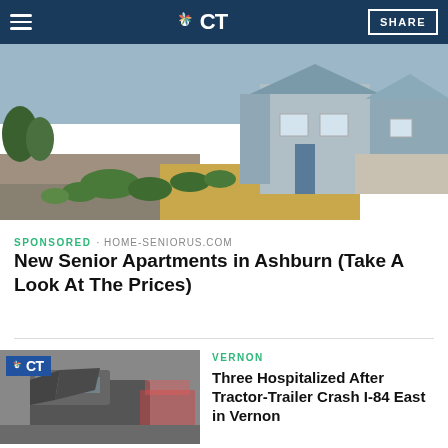NBC CT — SHARE
[Figure (photo): Row of blue-grey suburban houses with green hedges and yellow/tan ground cover, wide angle street-level view]
SPONSORED · HOME-SENIORUS.COM
New Senior Apartments in Ashburn (Take A Look At The Prices)
[Figure (photo): NBC CT logo overlay on photo of a wrecked tractor-trailer cab with emergency vehicles in background]
VERNON
Three Hospitalized After Tractor-Trailer Crash I-84 East in Vernon